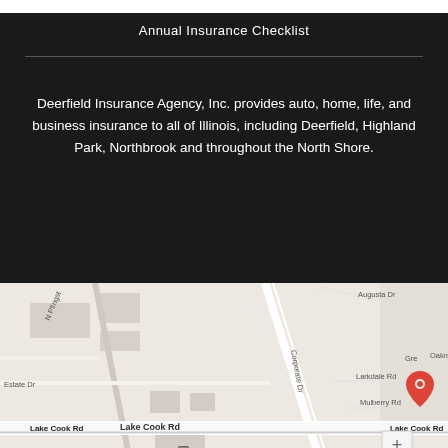Annual Insurance Checklist
Deerfield Insurance Agency, Inc. provides auto, home, life, and business insurance to all of Illinois, including Deerfield, Highland Park, Northbrook and throughout the North Shore.
[Figure (map): Google Maps showing location marker on Lake Cook Rd area with street labels: N Pfingst, Corporate Dr, Oakmont Dr, Augusta Dr, Estate Dr, Larkdale Rd, Mulberry Rd, Lake Cook Rd, Lake Cook Road transit stop. Red location pin centered on the map.]